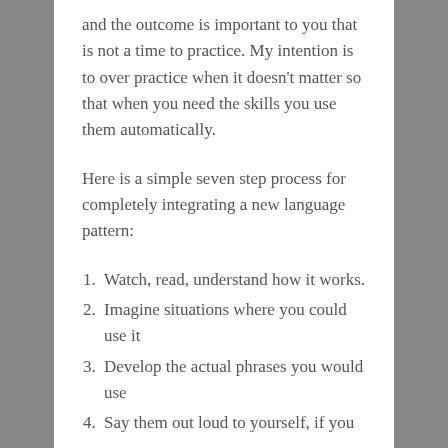and the outcome is important to you that is not a time to practice. My intention is to over practice when it doesn't matter so that when you need the skills you use them automatically.
Here is a simple seven step process for completely integrating a new language pattern:
Watch, read, understand how it works.
Imagine situations where you could use it
Develop the actual phrases you would use
Say them out loud to yourself, if you